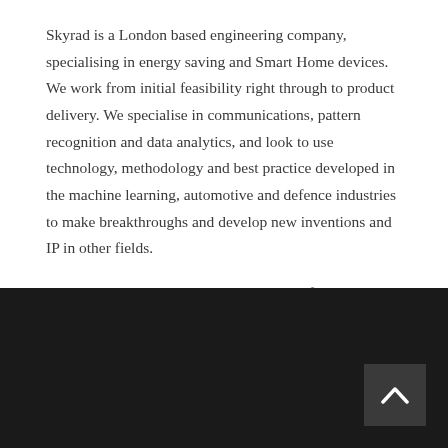Skyrad is a London based engineering company, specialising in energy saving and Smart Home devices. We work from initial feasibility right through to product delivery. We specialise in communications, pattern recognition and data analytics, and look to use technology, methodology and best practice developed in the machine learning, automotive and defence industries to make breakthroughs and develop new inventions and IP in other fields.
Please get in touch via the Contact Page if your business could benefit from a blast of innovation.